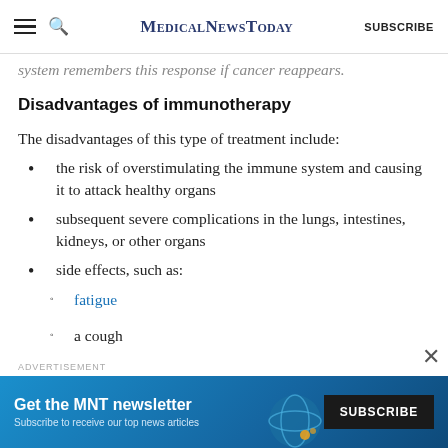MedicalNewsToday SUBSCRIBE
system remembers this response if cancer reappears.
Disadvantages of immunotherapy
The disadvantages of this type of treatment include:
the risk of overstimulating the immune system and causing it to attack healthy organs
subsequent severe complications in the lungs, intestines, kidneys, or other organs
side effects, such as:
fatigue
a cough
[Figure (infographic): MNT newsletter advertisement banner: Get the MNT newsletter. Subscribe to receive our top news articles. SUBSCRIBE button.]